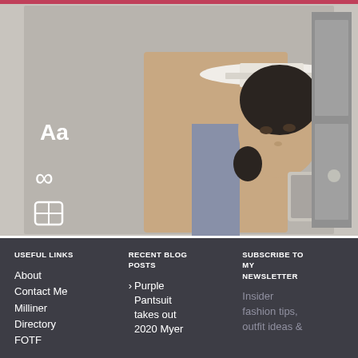[Figure (photo): Woman taking a mirror selfie wearing a wide-brim white hat and a sleeveless turtleneck outfit with decorative buttons. Editing tool icons (Aa, infinity, grid) visible on left side of screen.]
USEFUL LINKS
RECENT BLOG POSTS
SUBSCRIBE TO MY NEWSLETTER
About
Contact Me
Milliner Directory
FOTF
> Purple Pantsuit takes out 2020 Myer
Insider fashion tips, outfit ideas &